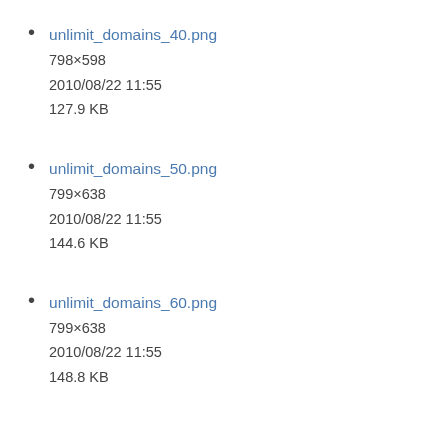unlimit_domains_40.png
798×598
2010/08/22 11:55
127.9 KB
unlimit_domains_50.png
799×638
2010/08/22 11:55
144.6 KB
unlimit_domains_60.png
799×638
2010/08/22 11:55
148.8 KB